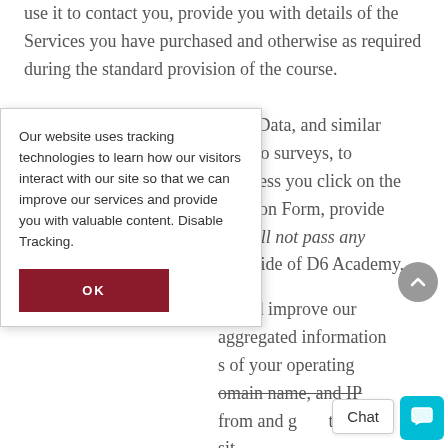use it to contact you, provide you with details of the Services you have purchased and otherwise as required during the standard provision of the course.
bove Data, and similar onse to surveys, to d, unless you click on the istration Form, provide We will not pass any e outside of D6 Academy,
Our website uses tracking technologies to learn how our visitors interact with our site so that we can improve our services and provide you with valuable content. Disable Tracking.
OK
or and improve our aggregated information s of your operating omain name, and IP from and g t sit.